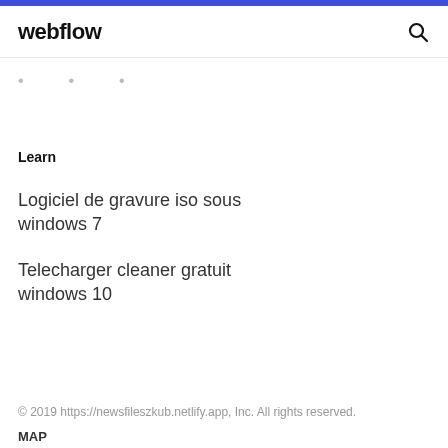webflow
. . .
Learn
Logiciel de gravure iso sous windows 7
Telecharger cleaner gratuit windows 10
© 2019 https://newsfileszkub.netlify.app, Inc. All rights reserved.
MAP